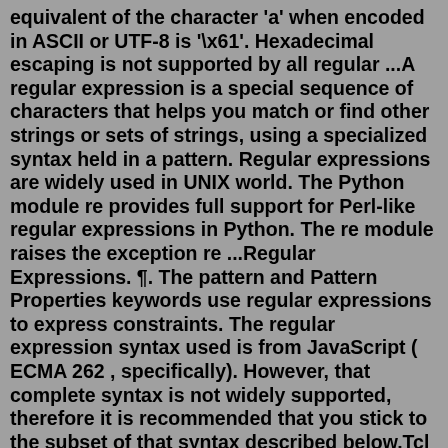equivalent of the character 'a' when encoded in ASCII or UTF-8 is '\x61'. Hexadecimal escaping is not supported by all regular ...A regular expression is a special sequence of characters that helps you match or find other strings or sets of strings, using a specialized syntax held in a pattern. Regular expressions are widely used in UNIX world. The Python module re provides full support for Perl-like regular expressions in Python. The re module raises the exception re ...Regular Expressions. ¶. The pattern and Pattern Properties keywords use regular expressions to express constraints. The regular expression syntax used is from JavaScript ( ECMA 262 , specifically). However, that complete syntax is not widely supported, therefore it is recommended that you stick to the subset of that syntax described below.Tcl - Regular Expressions. The "regexp" command is used to match a regular expression in Tcl. A regular expression is a sequence of characters that contains a search pattern. It consists of multiple rules and the following table describes the syntax of each rule...